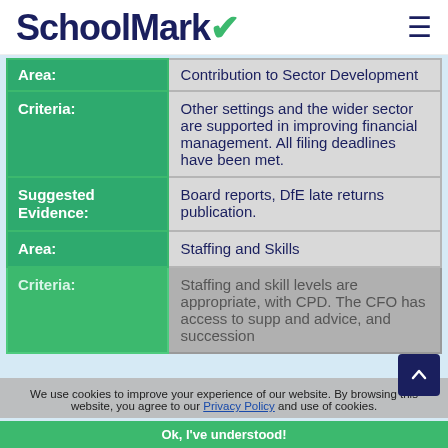SchoolMark
| Label | Value |
| --- | --- |
| Area: | Contribution to Sector Development |
| Criteria: | Other settings and the wider sector are supported in improving financial management. All filing deadlines have been met. |
| Suggested Evidence: | Board reports, DfE late returns publication. |
| Area: | Staffing and Skills |
| Criteria: | Staffing and skill levels are appropriate, with CPD. The CFO has access to supp and advice, and succession |
We use cookies to improve your experience of our website. By browsing this website, you agree to our Privacy Policy and use of cookies.
Ok, I've understood!